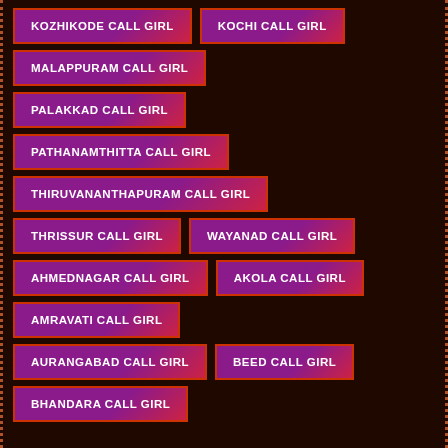KOZHIKODE CALL GIRL
KOCHI CALL GIRL
MALAPPURAM CALL GIRL
PALAKKAD CALL GIRL
PATHANAMTHITTA CALL GIRL
THIRUVANANTHAPURAM CALL GIRL
THRISSUR CALL GIRL
WAYANAD CALL GIRL
AHMEDNAGAR CALL GIRL
AKOLA CALL GIRL
AMRAVATI CALL GIRL
AURANGABAD CALL GIRL
BEED CALL GIRL
BHANDARA CALL GIRL